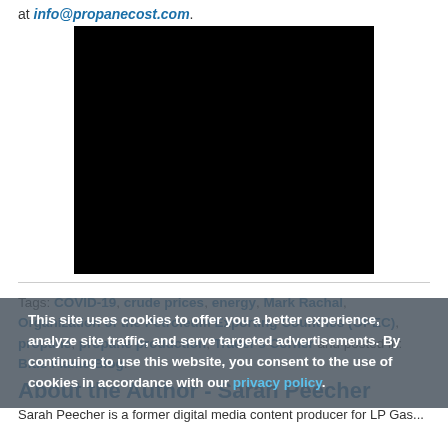at info@propanecost.com.
[Figure (photo): A large black rectangle, likely a video embed placeholder or image with no visible content.]
Tags: COVID-19, crude prices, energy, Mark Rachal, Organization of the Petroleum Exporting Countries (OPEC), propane, propane production, Trader's Corner and posted in: Blue Flame Blog.
About the Author - Sarah Peecher
Sarah Peecher is a former digital media content producer for LP Gas...
This site uses cookies to offer you a better experience, analyze site traffic, and serve targeted advertisements. By continuing to use this website, you consent to the use of cookies in accordance with our privacy policy.